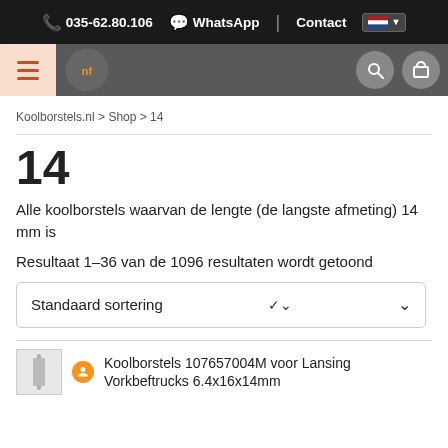035-62.80.106  WhatsApp  Contact
[Figure (screenshot): Website navigation bar with menu button, logo, search and cart icons]
Koolborstels.nl > Shop > 14
14
Alle koolborstels waarvan de lengte (de langste afmeting) 14 mm is
Resultaat 1–36 van de 1096 resultaten wordt getoond
Standaard sortering
Koolborstels 107657004M voor Lansing Vorkbeftrucks 6.4x16x14mm